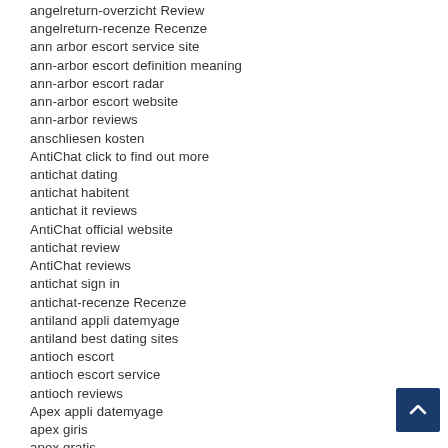angelreturn-overzicht Review
angelreturn-recenze Recenze
ann arbor escort service site
ann-arbor escort definition meaning
ann-arbor escort radar
ann-arbor escort website
ann-arbor reviews
anschliesen kosten
AntiChat click to find out more
antichat dating
antichat habitent
antichat it reviews
AntiChat official website
antichat review
AntiChat reviews
antichat sign in
antichat-recenze Recenze
antiland appli datemyage
antiland best dating sites
antioch escort
antioch escort service
antioch reviews
Apex appli datemyage
apex giris
apex gratis